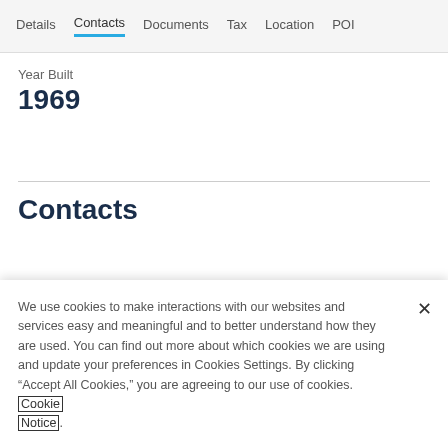Details  Contacts  Documents  Tax  Location  POI
Year Built
1969
Contacts
We use cookies to make interactions with our websites and services easy and meaningful and to better understand how they are used. You can find out more about which cookies we are using and update your preferences in Cookies Settings. By clicking "Accept All Cookies," you are agreeing to our use of cookies. Cookie Notice.
Cookies Settings
Accept All Cookies